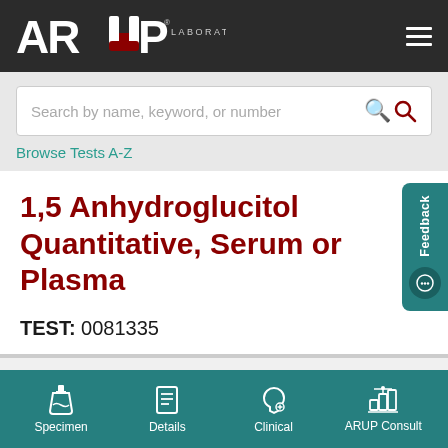ARUP LABORATORIES
Search by name, keyword, or number
Browse Tests A-Z
1,5 Anhydroglucitol Quantitative, Serum or Plasma
TEST: 0081335
Specimen | Details | Clinical | ARUP Consult